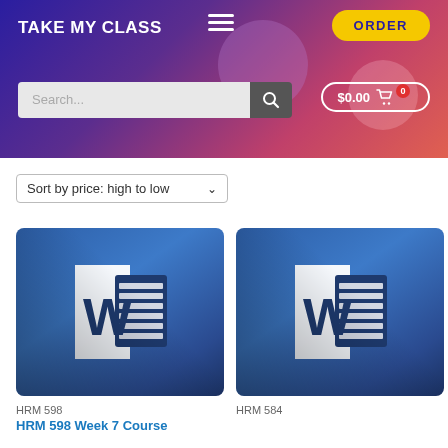TAKE MY CLASS
ORDER
Search...
$0.00 🛒 0
Sort by price: high to low
[Figure (screenshot): Microsoft Word document icon on blue gradient background]
HRM 598
HRM 598 Week 7 Course
[Figure (screenshot): Microsoft Word document icon on blue gradient background]
HRM 584